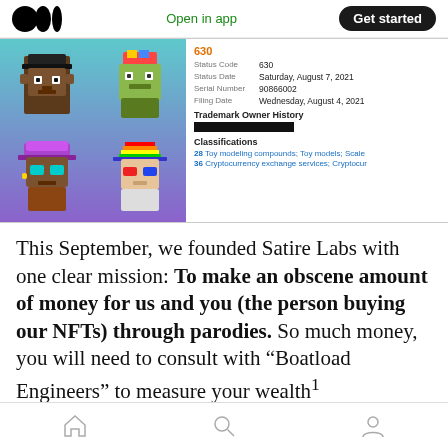Open in app | Get started
[Figure (screenshot): Screenshot of a trademark registration record showing pixel-art NFT characters (CryptoPunks-style apes and figures) on a teal-to-purple gradient background on the left, and trademark data fields on the right: Status Code 630, Status Date Saturday August 7 2021, Serial Number 90866002, Filing Date Wednesday August 4 2021, Trademark Owner History (redacted), Classifications 28 Toy modeling compounds; Toy models; Scale, 36 Cryptocurrency exchange services; Cryptocur]
This September, we founded Satire Labs with one clear mission: To make an obscene amount of money for us and you (the person buying our NFTs) through parodies. So much money, you will need to consult with “Boatload Engineers” to measure your wealth¹
Home | Search | Profile